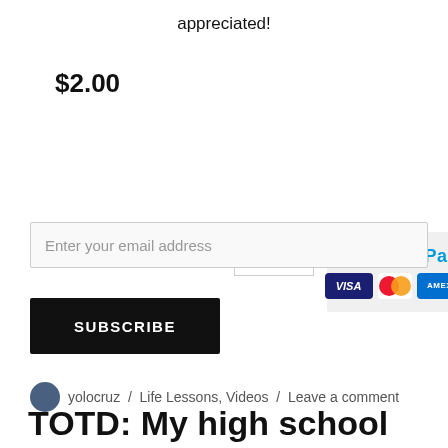appreciated!
$2.00
[Figure (screenshot): Quantity selector showing '1' with up/down arrows, and PayPal payment button with Visa, Mastercard, Amex, Discover card icons]
[Figure (screenshot): Email input field with placeholder 'Enter your email address']
[Figure (screenshot): Black SUBSCRIBE button]
yolocruz / Life Lessons, Videos / Leave a comment
TOTD: My high school